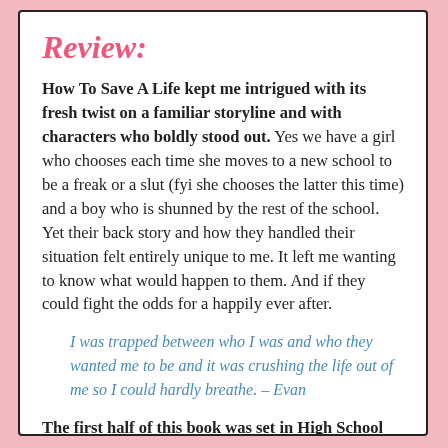Review:
How To Save A Life kept me intrigued with its fresh twist on a familiar storyline and with characters who boldly stood out. Yes we have a girl who chooses each time she moves to a new school to be a freak or a slut (fyi she chooses the latter this time) and a boy who is shunned by the rest of the school. Yet their back story and how they handled their situation felt entirely unique to me. It left me wanting to know what would happen to them. And if they could fight the odds for a happily ever after.
I was trapped between who I was and who they wanted me to be and it was crushing the life out of me so I could hardly breathe. – Evan
The first half of this book was set in High School and I loved this part of the book...